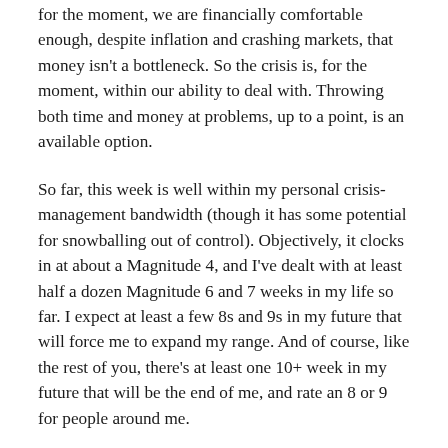for the moment, we are financially comfortable enough, despite inflation and crashing markets, that money isn't a bottleneck. So the crisis is, for the moment, within our ability to deal with. Throwing both time and money at problems, up to a point, is an available option.
So far, this week is well within my personal crisis-management bandwidth (though it has some potential for snowballing out of control). Objectively, it clocks in at about a Magnitude 4, and I've dealt with at least half a dozen Magnitude 6 and 7 weeks in my life so far. I expect at least a few 8s and 9s in my future that will force me to expand my range. And of course, like the rest of you, there's at least one 10+ week in my future that will be the end of me, and rate an 8 or 9 for people around me.
As the world has gotten more crisis prone at all levels from personal to geopolitical in the last few years, the importance of consciously cultivating a more effective crisis mindset has been